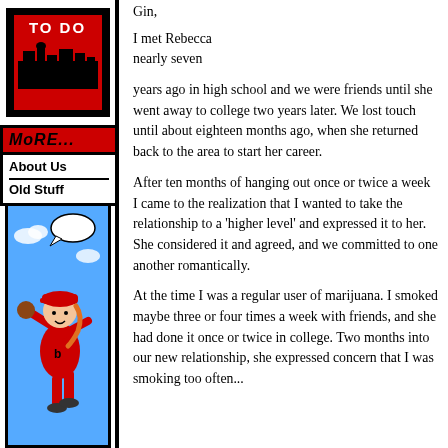[Figure (illustration): Sidebar with 'TO DO' red and black logo block showing city skyline silhouette]
[Figure (illustration): 'MORE...' red banner with 'About Us' and 'Old Stuff' navigation links in comic book style]
[Figure (illustration): Comic book style character - girl in red baseball cap and outfit, flying/skating pose on blue background with speech bubble]
Gin,

I met Rebecca nearly seven years ago in high school and we were friends until she went away to college two years later. We lost touch until about eighteen months ago, when she returned back to the area to start her career.

After ten months of hanging out once or twice a week I came to the realization that I wanted to take the relationship to a 'higher level' and expressed it to her. She considered it and agreed, and we committed to one another romantically.

At the time I was a regular user of marijuana. I smoked maybe three or four times a week with friends, and she had done it once or twice in college. Two months into our new relationship, she expressed concern that I was smoking too often...